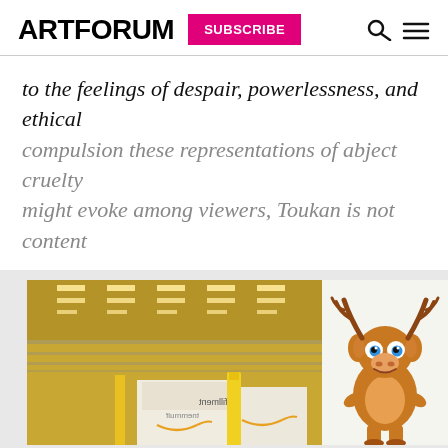ARTFORUM | SUBSCRIBE
to the feelings of despair, powerlessness, and ethical compulsion these representations of abject cruelty might evoke among viewers, Toukan is not content
Read more
[Figure (photo): Left: interior of an Amazon warehouse/fulfillment center with conveyor belts and fluorescent lighting, showing Amazon-branded boxes with mirrored/inverted text. Right: a cartoon illustrated reindeer character with antlers, blue eyes, and a friendly expression.]